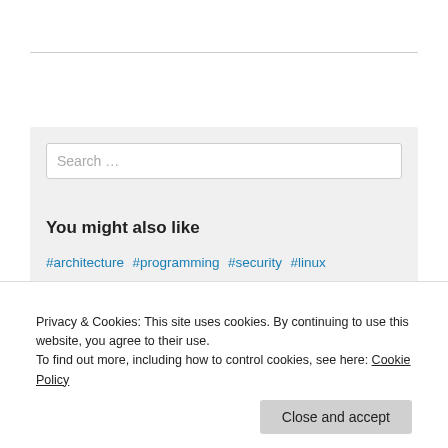Newer posts →
Search …
You might also like
#architecture #programming #security #linux #electronics
Privacy & Cookies: This site uses cookies. By continuing to use this website, you agree to their use.
To find out more, including how to control cookies, see here: Cookie Policy
Close and accept